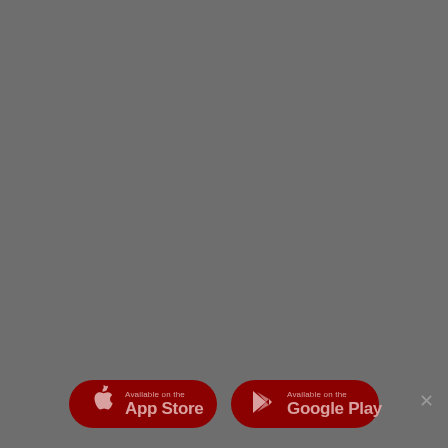[Figure (screenshot): App store download buttons. Left button: Apple App Store button with apple logo icon, text 'Available on the App Store' on dark red/maroon rounded pill background. Right button: Google Play button with play store triangle icon, text 'Available on the Google Play' on dark red/maroon rounded pill background. An X close button is to the right of the buttons. The overall background is medium gray.]